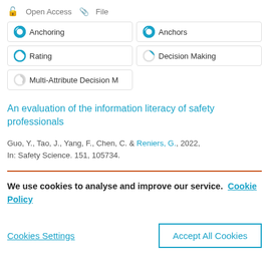🔓 Open Access  📎 File
Anchoring
Anchors
Rating
Decision Making
Multi-Attribute Decision M
An evaluation of the information literacy of safety professionals
Guo, Y., Tao, J., Yang, F., Chen, C. & Reniers, G., 2022, In: Safety Science. 151, 105734.
We use cookies to analyse and improve our service. Cookie Policy
Cookies Settings
Accept All Cookies